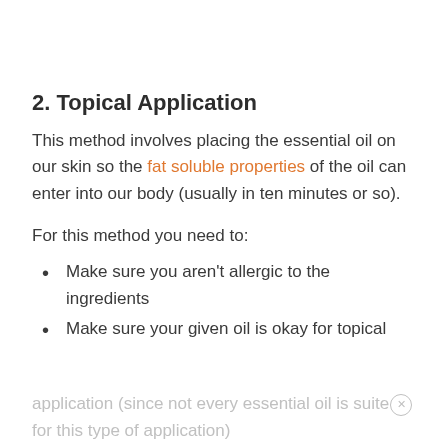2. Topical Application
This method involves placing the essential oil on our skin so the fat soluble properties of the oil can enter into our body (usually in ten minutes or so).
For this method you need to:
Make sure you aren't allergic to the ingredients
Make sure your given oil is okay for topical
application (since not every essential oil is suited for this type of application)